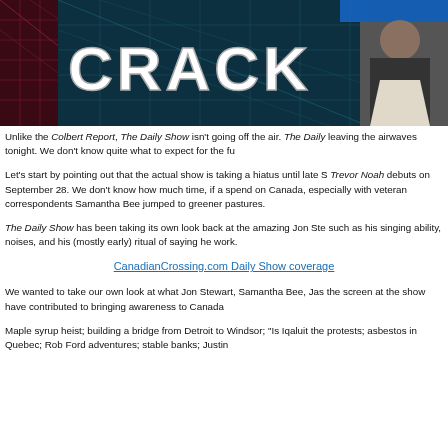[Figure (screenshot): Screenshot of a TV show graphic with the word CRACK in large metallic letters on a dark blue/red background with grid lines, and a man in a suit visible on the right side]
Unlike the Colbert Report, The Daily Show isn't going off the air. The Daily leaving the airwaves tonight. We don't know quite what to expect for the fu
Let's start by pointing out that the actual show is taking a hiatus until late S Trevor Noah debuts on September 28. We don't know how much time, if a spend on Canada, especially with veteran correspondents Samantha Bee jumped to greener pastures.
The Daily Show has been taking its own look back at the amazing Jon Ste such as his singing ability, noises, and his (mostly early) ritual of saying he work.
CanadianCrossing.com Daily Show coverage
We wanted to take our own look at what Jon Stewart, Samantha Bee, Jas the screen at the show have contributed to bringing awareness to Canada
Maple syrup heist; building a bridge from Detroit to Windsor; "Is Iqaluit the protests; asbestos in Quebec; Rob Ford adventures; stable banks; Justin